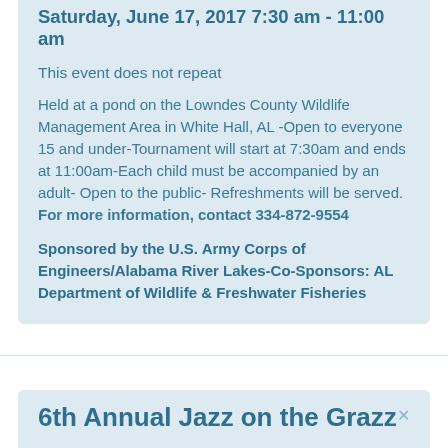Saturday, June 17, 2017 7:30 am - 11:00 am
This event does not repeat
Held at a pond on the Lowndes County Wildlife Management Area in White Hall, AL -Open to everyone 15 and under-Tournament will start at 7:30am and ends at 11:00am-Each child must be accompanied by an adult- Open to the public- Refreshments will be served. For more information, contact 334-872-9554
Sponsored by the U.S. Army Corps of Engineers/Alabama River Lakes-Co-Sponsors: AL Department of Wildlife & Freshwater Fisheries
6th Annual Jazz on the Grazz